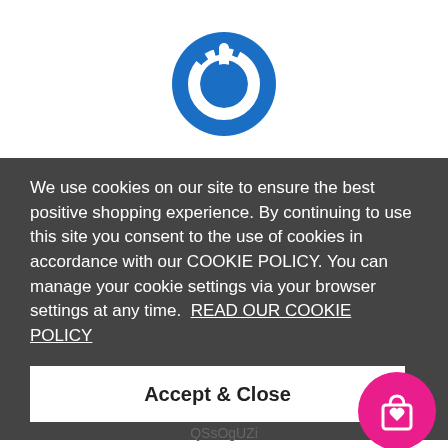[Figure (logo): Blue circular power button logo]
We use cookies on our site to ensure the best positive shopping experience. By continuing to use this site you consent to the use of cookies in accordance with our COOKIE POLICY. You can manage your cookie settings via your browser settings at any time.  READ OUR COOKIE POLICY
Accept & Close
[Figure (illustration): Pink circle with shopping bag and heart icon]
QSsOgUZi